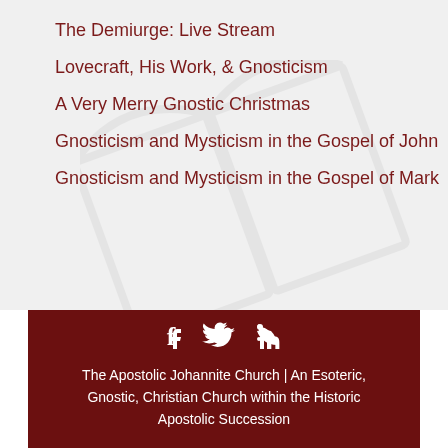The Demiurge: Live Stream
Lovecraft, His Work, & Gnosticism
A Very Merry Gnostic Christmas
Gnosticism and Mysticism in the Gospel of John
Gnosticism and Mysticism in the Gospel of Mark
[Figure (illustration): Watermark/background image of an open book or religious symbol in light gray]
The Apostolic Johannite Church | An Esoteric, Gnostic, Christian Church within the Historic Apostolic Succession